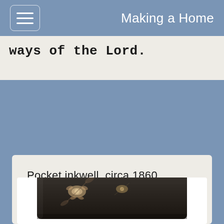Making a Home
ways of the Lord.
Pocket inkwell, circa 1860
[Figure (photo): A pocket inkwell from circa 1860, shown as a dark rectangular object with floral decorative elements on its surface, viewed from above at a slight angle.]